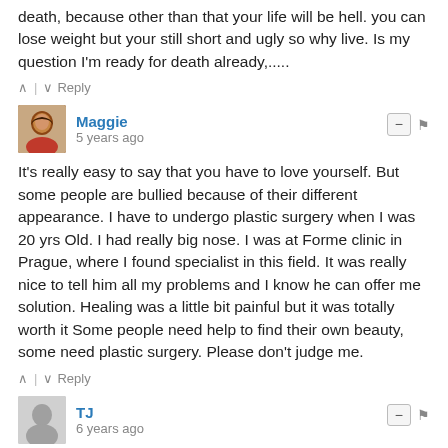death, because other than that your life will be hell. you can lose weight but your still short and ugly so why live. Is my question I'm ready for death already,.....
∧ | ∨  Reply
Maggie
5 years ago
It's really easy to say that you have to love yourself. But some people are bullied because of their different appearance. I have to undergo plastic surgery when I was 20 yrs Old. I had really big nose. I was at Forme clinic in Prague, where I found specialist in this field. It was really nice to tell him all my problems and I know he can offer me solution. Healing was a little bit painful but it was totally worth it Some people need help to find their own beauty, some need plastic surgery. Please don't judge me.
∧ | ∨  Reply
TJ
6 years ago
Good tips! I wish self love translated into love and acceptance from others as easily as people assure me it does. Oh well... at